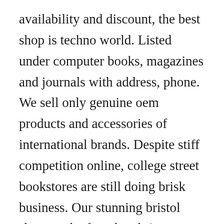availability and discount, the best shop is techno world. Listed under computer books, magazines and journals with address, phone. We sell only genuine oem products and accessories of international brands. Despite stiff competition online, college street bookstores are still doing brisk business. Our stunning bristol shop can be found on brigstowe street, cabot circus. Starmark techno world oxford book store, the top kolkata book stores. The most technologically advanced live gps tracker in the world, trax gives you real time tracking, wireless